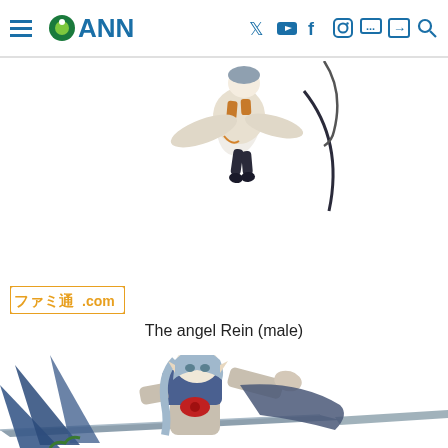ANN (Anime News Network) navigation bar with hamburger menu, logo, and social media icons
[Figure (illustration): Anime character Rein (male angel) rendered in 3D art style, shown floating/falling, wearing white and orange outfit with dark boots, white background]
ファミ通.com
The angel Rein (male)
[Figure (illustration): Anime female character with silver-blue hair, pointed ears, wearing blue outfit with red accessories, holding a large sword, rendered in detailed 3D art style]